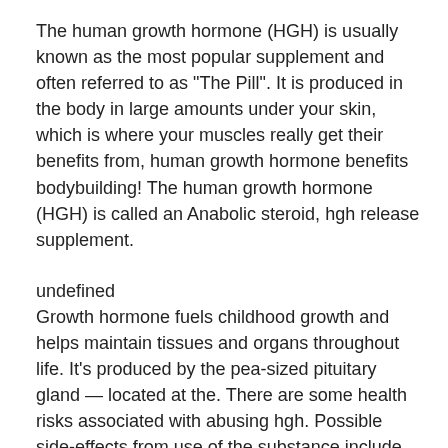The human growth hormone (HGH) is usually known as the most popular supplement and often referred to as "The Pill". It is produced in the body in large amounts under your skin, which is where your muscles really get their benefits from, human growth hormone benefits bodybuilding! The human growth hormone (HGH) is called an Anabolic steroid, hgh release supplement.
undefined
Growth hormone fuels childhood growth and helps maintain tissues and organs throughout life. It's produced by the pea-sized pituitary gland — located at the. There are some health risks associated with abusing hgh. Possible side-effects from use of the substance include fluid retention and swelling (. Human growth hormone is a